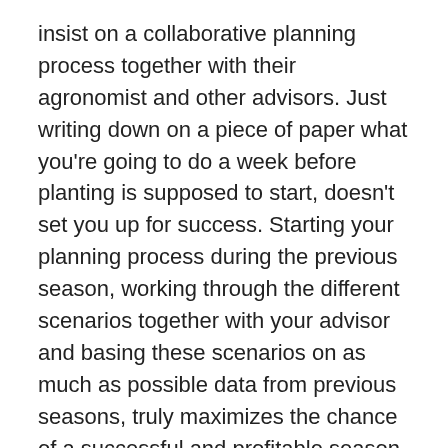insist on a collaborative planning process together with their agronomist and other advisors. Just writing down on a piece of paper what you're going to do a week before planting is supposed to start, doesn't set you up for success. Starting your planning process during the previous season, working through the different scenarios together with your advisor and basing these scenarios on as much as possible data from previous seasons, truly maximizes the chance of a successful and profitable season.
Sure, every season will yield unexpected circumstances that call for a change of plans but, through the process of planning, you can be ready to adjust your plans in an informed way, at any time